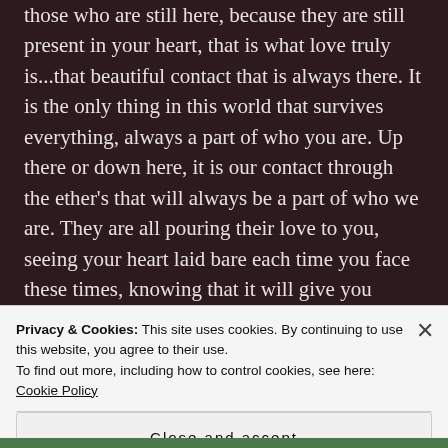those who are still here, because they are still present in your heart, that is what love truly is...that beautiful contact that is always there. It is the only thing in this world that survives everything, always a part of who you are. Up there or down here, it is our contact through the ether’s that will always be a part of who we are. They are all pouring their love to you, seeing your heart laid bare each time you face these times, knowing that it will give you strength as you stand in your love to
Privacy & Cookies: This site uses cookies. By continuing to use this website, you agree to their use.
To find out more, including how to control cookies, see here: Cookie Policy
Close and accept